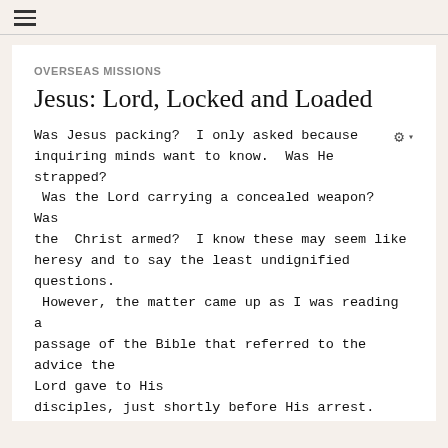≡
OVERSEAS MISSIONS
Jesus: Lord, Locked and Loaded
Was Jesus packing?  I only asked because inquiring minds want to know.  Was He strapped?  Was the Lord carrying a concealed weapon?  Was the  Christ armed?  I know these may seem like heresy and to say the least undignified questions.  However, the matter came up as I was reading a passage of the Bible that referred to the advice the Lord gave to His disciples, just shortly before His arrest. Here it is as recorded in Luke's gospel.
Lu 22:36 Then said he unto them, But now, he that hath a purse, let him take it, and likewise his scrip: